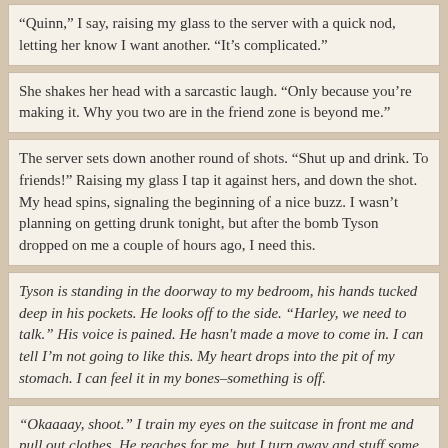“Quinn,” I say, raising my glass to the server with a quick nod, letting her know I want another. “It’s complicated.”
She shakes her head with a sarcastic laugh. “Only because you’re making it. Why you two are in the friend zone is beyond me.”
The server sets down another round of shots. “Shut up and drink. To friends!” Raising my glass I tap it against hers, and down the shot. My head spins, signaling the beginning of a nice buzz. I wasn’t planning on getting drunk tonight, but after the bomb Tyson dropped on me a couple of hours ago, I need this.
Tyson is standing in the doorway to my bedroom, his hands tucked deep in his pockets. He looks off to the side. “Harley, we need to talk.” His voice is pained. He hasn't made a move to come in. I can tell I’m not going to like this. My heart drops into the pit of my stomach. I can feel it in my bones–something is off.
“Okaaaay, shoot.” I train my eyes on the suitcase in front me and pull out clothes. He reaches for me, but I turn away and stuff some T-shirts in my drawer. “Moving back home is going to take some